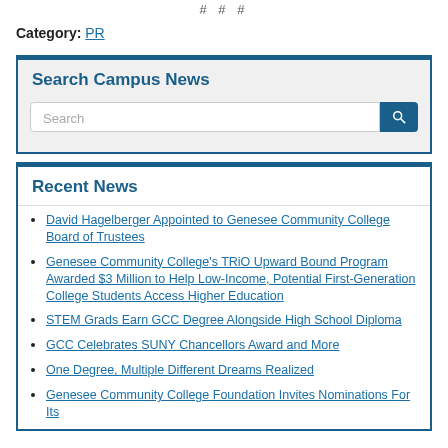# # #
Category: PR
Search Campus News
Search
Recent News
David Hagelberger Appointed to Genesee Community College Board of Trustees
Genesee Community College's TRiO Upward Bound Program Awarded $3 Million to Help Low-Income, Potential First-Generation College Students Access Higher Education
STEM Grads Earn GCC Degree Alongside High School Diploma
GCC Celebrates SUNY Chancellors Award and More
One Degree, Multiple Different Dreams Realized
Genesee Community College Foundation Invites Nominations For Its